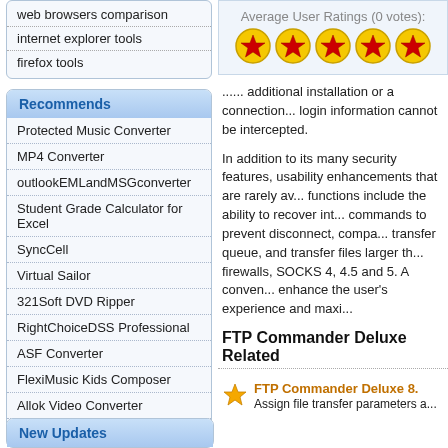web browsers comparison
internet explorer tools
firefox tools
Recommends
Protected Music Converter
MP4 Converter
outlookEMLandMSGconverter
Student Grade Calculator for Excel
SyncCell
Virtual Sailor
321Soft DVD Ripper
RightChoiceDSS Professional
ASF Converter
FlexiMusic Kids Composer
Allok Video Converter
OSS Video Decompiler
New Updates
Average User Ratings (0 votes):
[Figure (other): 5 star rating icons (yellow circle with red star)]
...... additional installation or a connection... login information cannot be intercepted.
In addition to its many security features, usability enhancements that are rarely av... functions include the ability to recover int... commands to prevent disconnect, compa... transfer queue, and transfer files larger th... firewalls, SOCKS 4, 4.5 and 5. A conven... enhance the user's experience and maxi...
FTP Commander Deluxe Related
FTP Commander Deluxe 8. Assign file transfer parameters a...